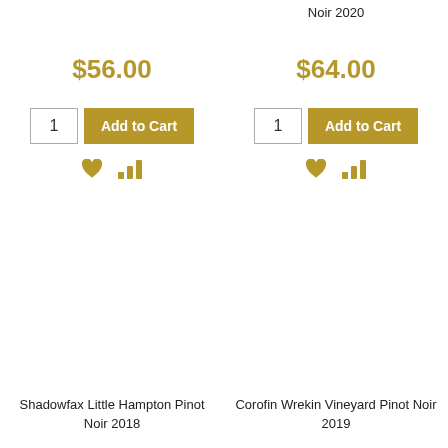Noir 2020
$56.00
$64.00
Shadowfax Little Hampton Pinot Noir 2018
Corofin Wrekin Vineyard Pinot Noir 2019